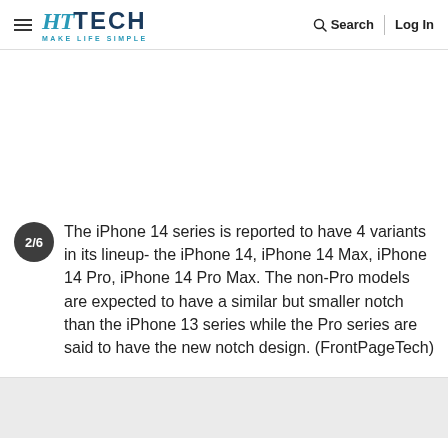HT TECH - MAKE LIFE SIMPLE | Search | Log In
2/6 The iPhone 14 series is reported to have 4 variants in its lineup- the iPhone 14, iPhone 14 Max, iPhone 14 Pro, iPhone 14 Pro Max. The non-Pro models are expected to have a similar but smaller notch than the iPhone 13 series while the Pro series are said to have the new notch design. (FrontPageTech)